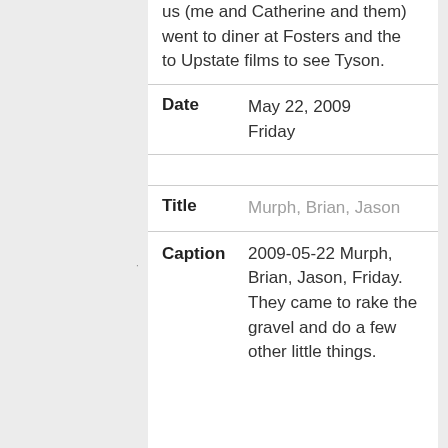us (me and Catherine and them) went to diner at Fosters and the to Upstate films to see Tyson.
| Date | May 22, 2009
Friday |
| Title | Murph, Brian, Jason |
| Caption | 2009-05-22 Murph, Brian, Jason, Friday. They came to rake the gravel and do a few other little things. |